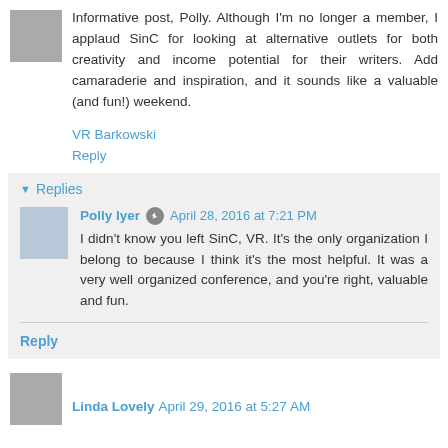Informative post, Polly. Although I'm no longer a member, I applaud SinC for looking at alternative outlets for both creativity and income potential for their writers. Add camaraderie and inspiration, and it sounds like a valuable (and fun!) weekend.
VR Barkowski
Reply
Replies
Polly Iyer  April 28, 2016 at 7:21 PM
I didn't know you left SinC, VR. It's the only organization I belong to because I think it's the most helpful. It was a very well organized conference, and you're right, valuable and fun.
Reply
Linda Lovely  April 29, 2016 at 5:27 AM